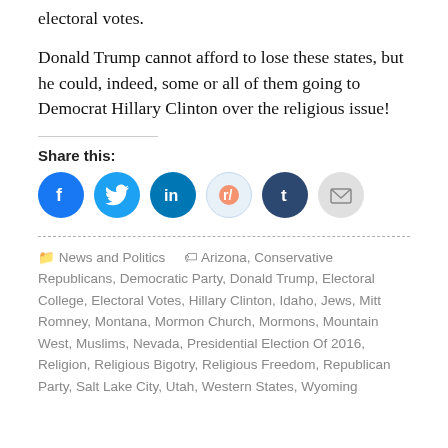electoral votes.
Donald Trump cannot afford to lose these states, but he could, indeed, some or all of them going to Democrat Hillary Clinton over the religious issue!
Share this:
[Figure (infographic): Social share buttons: Facebook, Twitter, LinkedIn, Reddit, Tumblr, Email]
News and Politics   Arizona, Conservative Republicans, Democratic Party, Donald Trump, Electoral College, Electoral Votes, Hillary Clinton, Idaho, Jews, Mitt Romney, Montana, Mormon Church, Mormons, Mountain West, Muslims, Nevada, Presidential Election Of 2016, Religion, Religious Bigotry, Religious Freedom, Republican Party, Salt Lake City, Utah, Western States, Wyoming